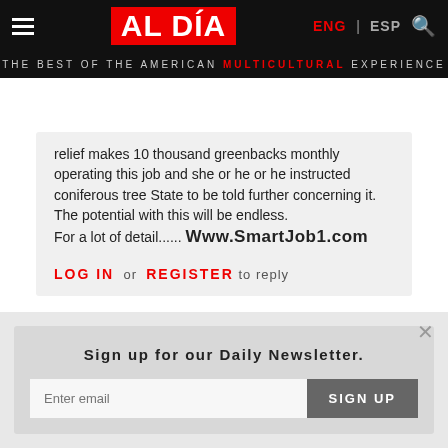AL DÍA — THE BEST OF THE AMERICAN MULTICULTURAL EXPERIENCE
relief makes 10 thousand greenbacks monthly operating this job and she or he or he instructed coniferous tree State to be told further concerning it. The potential with this will be endless.
For a lot of detail...... Www.SmartJob1.com
LOG IN or REGISTER to reply
Sign up for our Daily Newsletter.
Enter email  SIGN UP